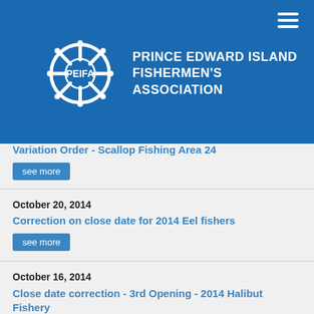[Figure (logo): PEIFA ship wheel logo with text PRINCE EDWARD ISLAND FISHERMEN'S ASSOCIATION on blue background]
Variation Order - Scallop Fishing Area 24
see more
October 20, 2014
Correction on close date for 2014 Eel fishers
see more
October 16, 2014
Close date correction - 3rd Opening - 2014 Halibut Fishery